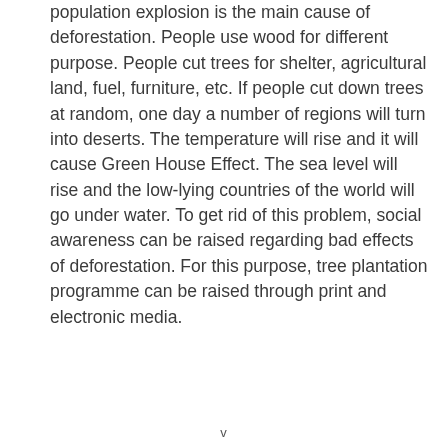population explosion is the main cause of deforestation. People use wood for different purpose. People cut trees for shelter, agricultural land, fuel, furniture, etc. If people cut down trees at random, one day a number of regions will turn into deserts. The temperature will rise and it will cause Green House Effect. The sea level will rise and the low-lying countries of the world will go under water. To get rid of this problem, social awareness can be raised regarding bad effects of deforestation. For this purpose, tree plantation programme can be raised through print and electronic media.
v